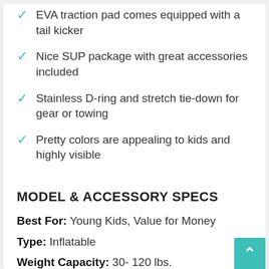EVA traction pad comes equipped with a tail kicker
Nice SUP package with great accessories included
Stainless D-ring and stretch tie-down for gear or towing
Pretty colors are appealing to kids and highly visible
MODEL & ACCESSORY SPECS
Best For: Young Kids, Value for Money
Type: Inflatable
Weight Capacity: 30- 120 lbs.
Board size: 7ft x 30 x 6 inches
Weight: 19 Pounds